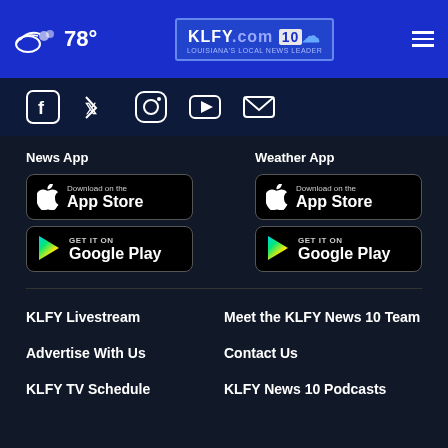78° KLFY.com 10 [menu]
[Figure (screenshot): Social media icons: Facebook, Twitter, Instagram, YouTube, Email]
News App
[Figure (screenshot): Download on the App Store button]
[Figure (screenshot): Get it on Google Play button]
Weather App
[Figure (screenshot): Download on the App Store button]
[Figure (screenshot): Get it on Google Play button]
KLFY Livestream
Meet the KLFY News 10 Team
Advertise With Us
Contact Us
KLFY TV Schedule
KLFY News 10 Podcasts